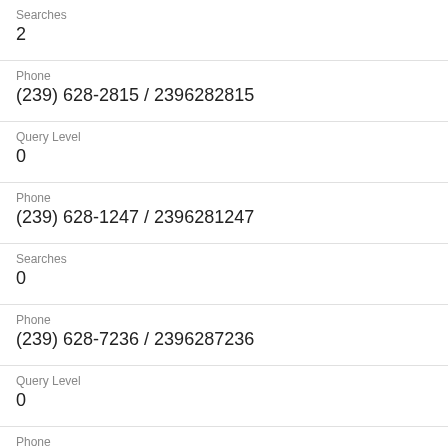Searches
2
Phone
(239) 628-2815 / 2396282815
Query Level
0
Phone
(239) 628-1247 / 2396281247
Searches
0
Phone
(239) 628-7236 / 2396287236
Query Level
0
Phone
(239) 628-0538 / 2396280538
Searches
0
Phone